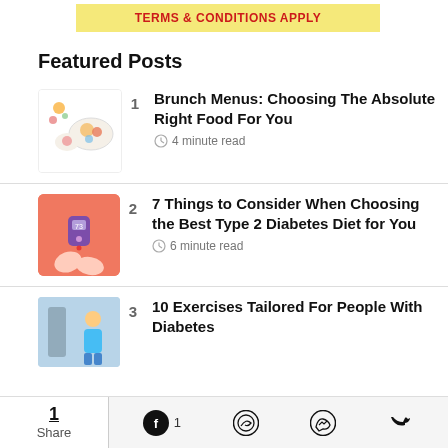[Figure (illustration): Yellow banner with red bold text: TERMS & CONDITIONS APPLY]
Featured Posts
Brunch Menus: Choosing The Absolute Right Food For You — 4 minute read
7 Things to Consider When Choosing the Best Type 2 Diabetes Diet for You — 6 minute read
10 Exercises Tailored For People With Diabetes
1 Share | Facebook 1 | WhatsApp | Messenger | Twitter